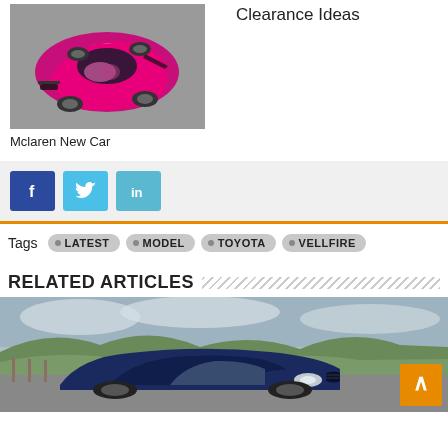[Figure (photo): Pink/magenta McLaren supercar viewed from above at an angle, parked on a grey surface]
Mclaren New Car
Clearance Ideas
Social share buttons: Facebook, Twitter, LinkedIn
Tags  LATEST  MODEL  TOYOTA  VELLFIRE
RELATED ARTICLES
[Figure (photo): Dark blue Nissan Leaf electric car, front three-quarter view, with green hills and cloudy sky in background]